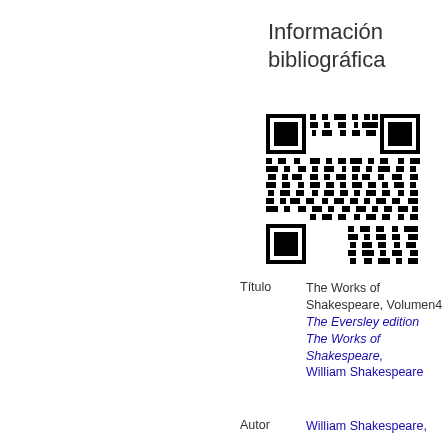Información bibliográfica
[Figure (other): QR code for bibliographic information]
Título   The Works of Shakespeare, Volumen4 The Eversley edition The Works of Shakespeare, William Shakespeare
Autor   William Shakespeare,